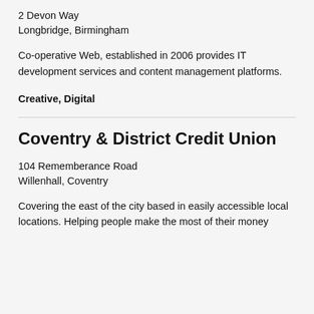2 Devon Way
Longbridge, Birmingham
Co-operative Web, established in 2006 provides IT development services and content management platforms.
Creative, Digital
Coventry & District Credit Union
104 Rememberance Road
Willenhall, Coventry
Covering the east of the city based in easily accessible local locations. Helping people make the most of their money